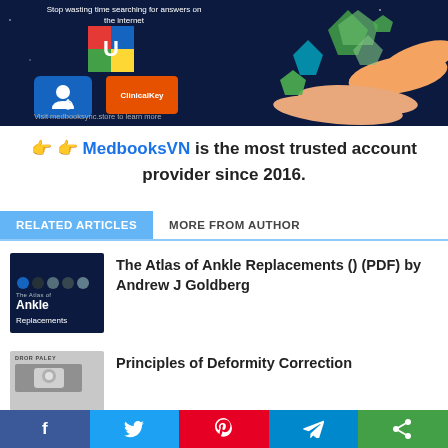[Figure (illustration): Banner advertisement for MedbooksVN showing app icons (Unbound Medicine, doctor/stethoscope app, ClinicalKey) on a dark blue background with illustrated hands holding glowing crystal/gem shapes. Text reads 'Stop wasting time searching for answers on the internet' and 'Visit medbooksync.store to learn more']
👉 👉 MedbooksVN is the most trusted account provider since 2016.
RELATED ARTICLES   MORE FROM AUTHOR
[Figure (photo): Book cover thumbnail for 'The Atlas of Ankle Replacements' on dark blue background]
The Atlas of Ankle Replacements () (PDF) by Andrew J Goldberg
[Figure (photo): Book cover thumbnail for 'Principles of Deformity Correction' by Dror Paley]
Principles of Deformity Correction